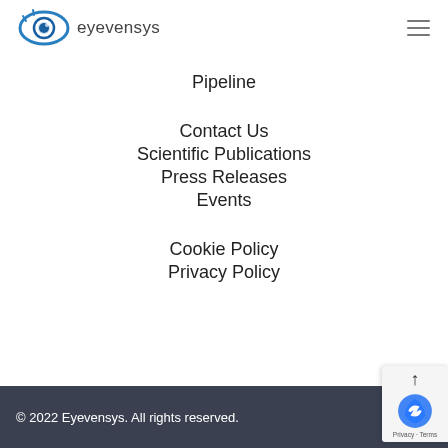[Figure (logo): Eyevensys logo — stylized blue eye icon and 'eyevensys' wordmark]
Pipeline
Contact Us
Scientific Publications
Press Releases
Events
Cookie Policy
Privacy Policy
© 2022 Eyevensys. All rights reserved.